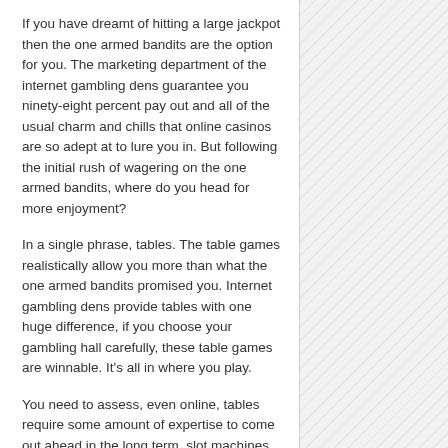If you have dreamt of hitting a large jackpot then the one armed bandits are the option for you. The marketing department of the internet gambling dens guarantee you ninety-eight percent pay out and all of the usual charm and chills that online casinos are so adept at to lure you in. But following the initial rush of wagering on the one armed bandits, where do you head for more enjoyment?
In a single phrase, tables. The table games realistically allow you more than what the one armed bandits promised you. Internet gambling dens provide tables with one huge difference, if you choose your gambling hall carefully, these table games are winnable. It's all in where you play.
You need to assess, even online, tables require some amount of expertise to come out ahead in the long term. slot machines are just a game of chance,